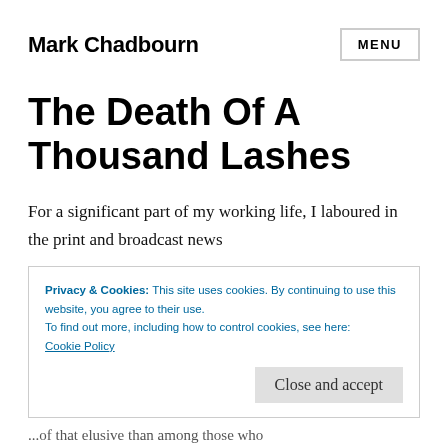Mark Chadbourn
The Death Of A Thousand Lashes
For a significant part of my working life, I laboured in the print and broadcast news
Privacy & Cookies: This site uses cookies. By continuing to use this website, you agree to their use.
To find out more, including how to control cookies, see here:
Cookie Policy
Close and accept
...of that elusive than among those who